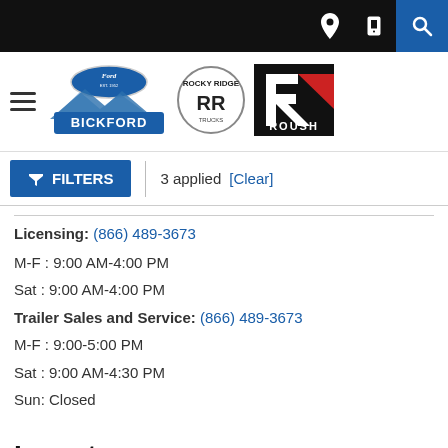Navigation bar with Bickford Ford, Rocky Ridge Trucks, and Roush logos
FILTERS | 3 applied [Clear]
Licensing: (866) 489-3673
M-F : 9:00 AM-4:00 PM
Sat : 9:00 AM-4:00 PM
Trailer Sales and Service: (866) 489-3673
M-F : 9:00-5:00 PM
Sat : 9:00 AM-4:30 PM
Sun: Closed
Inventory